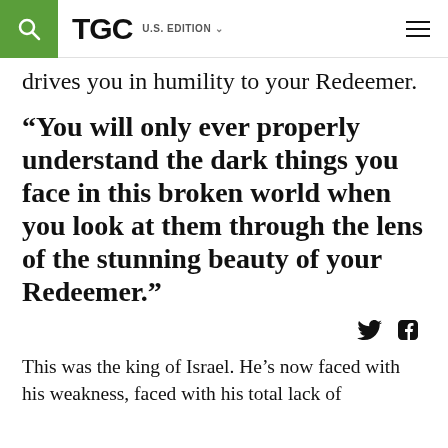TGC U.S. EDITION
drives you in humility to your Redeemer.
“You will only ever properly understand the dark things you face in this broken world when you look at them through the lens of the stunning beauty of your Redeemer.”
This was the king of Israel. He’s now faced with his weakness, faced with his total lack of